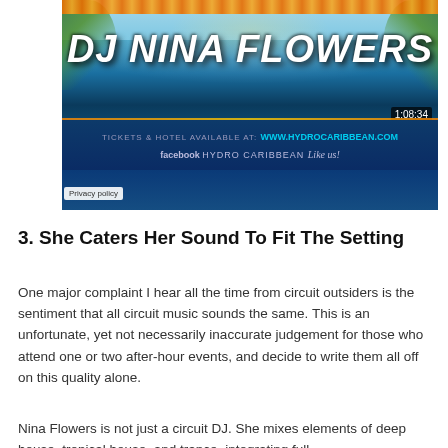[Figure (screenshot): Video thumbnail/screenshot of a DJ Nina Flowers promotional banner for Hydro Caribbean event. Shows 'DJ NINA FLOWERS' text in large white letters against a tropical blue background with palm fronds. Timestamp 1:08:34 visible. Banner text reads 'TICKETS & HOTEL AVAILABLE AT: WWW.HYDROCARIBBEAN.COM facebook HYDRO CARIBBEAN Like us!' Privacy policy badge visible in lower left.]
3. She Caters Her Sound To Fit The Setting
One major complaint I hear all the time from circuit outsiders is the sentiment that all circuit music sounds the same. This is an unfortunate, yet not necessarily inaccurate judgement for those who attend one or two after-hour events, and decide to write them all off on this quality alone.
Nina Flowers is not just a circuit DJ. She mixes elements of deep house, tropical house, and trance, integrating full